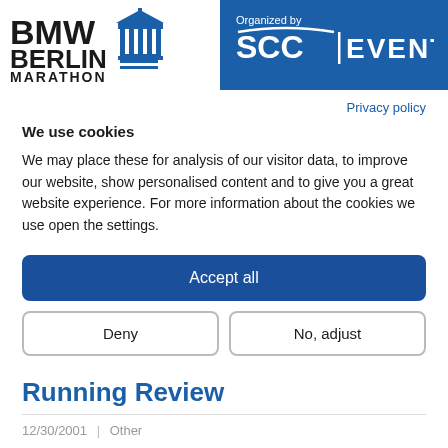[Figure (logo): BMW Berlin Marathon logo with Brandenburg Gate icon and blue/black text]
[Figure (logo): SCC Events logo - white text on blue background with 'Organized by' above]
Privacy policy
We use cookies
We may place these for analysis of our visitor data, to improve our website, show personalised content and to give you a great website experience. For more information about the cookies we use open the settings.
Accept all
Deny
No, adjust
Running Review
12/30/2001  |  Other